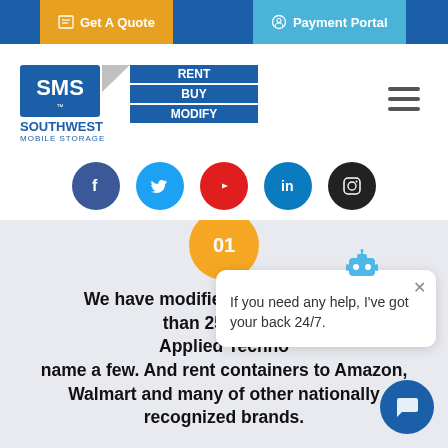Get A Quote | Payment Portal
[Figure (logo): Southwest Mobile Storage (SMS) logo with RENT BUY MODIFY tagline and hamburger menu icon]
[Figure (infographic): Social media icons row: Facebook, Twitter, YouTube, LinkedIn, Instagram]
[Figure (infographic): Orange circle with '01' text at top of content section]
We have modified nationwide and than 25 years Applied Techno name a few. And rent containers to Amazon, Walmart and many of other nationally recognized brands.
[Figure (screenshot): Chatbot popup with robot icon and text: If you need any help, I've got your back 24/7.]